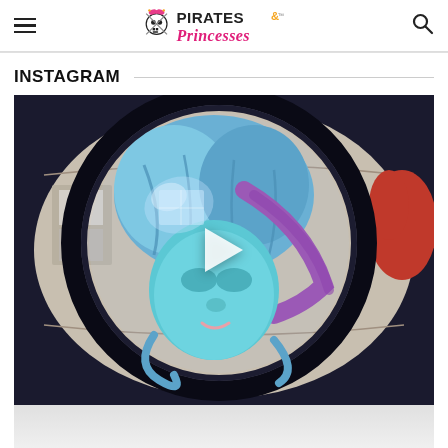Pirates & Princesses
INSTAGRAM
[Figure (screenshot): Instagram video thumbnail showing a person with blue and pink hair wearing a bubble-like transparent helmet or sphere, with a play button overlay. The image has a fisheye/wide-angle distortion effect.]